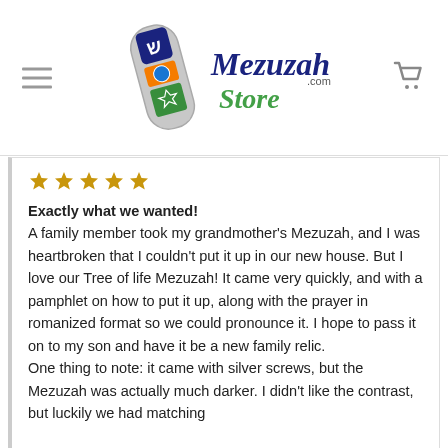[Figure (logo): MezuzahStore.com logo with decorative mezuzah case illustration and script text]
[Figure (other): Five gold/amber star rating icons]
Exactly what we wanted! A family member took my grandmother's Mezuzah, and I was heartbroken that I couldn't put it up in our new house. But I love our Tree of life Mezuzah! It came very quickly, and with a pamphlet on how to put it up, along with the prayer in romanized format so we could pronounce it. I hope to pass it on to my son and have it be a new family relic.
One thing to note: it came with silver screws, but the Mezuzah was actually much darker. I didn't like the contrast, but luckily we had matching